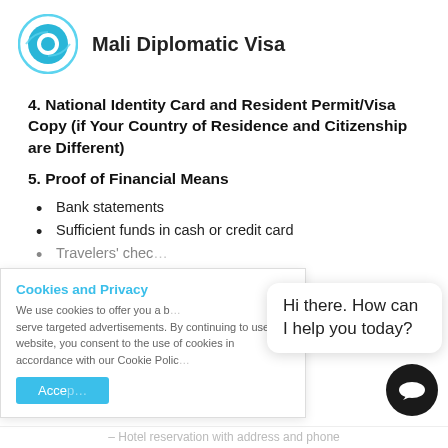Mali Diplomatic Visa
4. National Identity Card and Resident Permit/Visa Copy (if Your Country of Residence and Citizenship are Different)
5. Proof of Financial Means
Bank statements
Sufficient funds in cash or credit card
Travelers' chec…
Cookies and Privacy — We use cookies to offer you a b… serve targeted advertisements. By continuing to use this website, you consent to the use of cookies in accordance with our Cookie Polic…
Hi there. How can I help you today?
Hotel reservation with address and phone